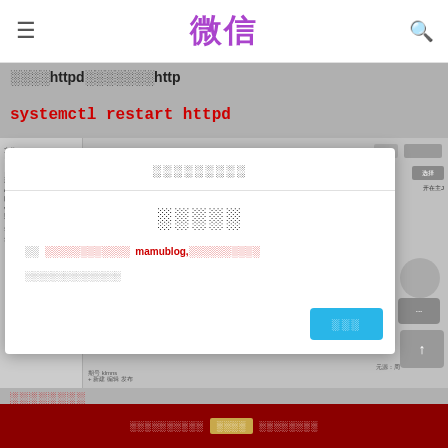微信
重启httpd使配置文件中定义的http
systemctl restart httpd
[Figure (screenshot): Screenshot of a configuration panel with file settings, DNS fields, and navigation UI]
关注链接安全
请确认
即将前往以下链接  mamublog,是否继续访问
此为腾讯安全验证平台提供
继续访问
提示信息页面
微信公众号列表  精彩内容  公众号导航